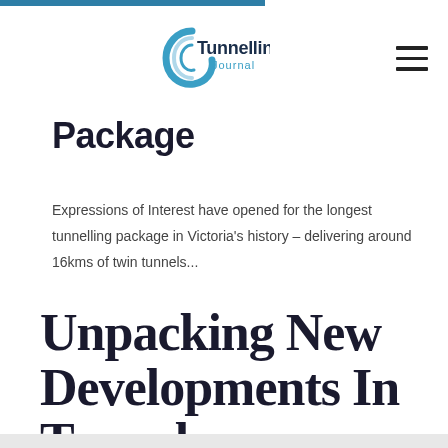Tunnelling Journal
Package
Expressions of Interest have opened for the longest tunnelling package in Victoria's history – delivering around 16kms of twin tunnels...
Unpacking New Developments In Tunnel